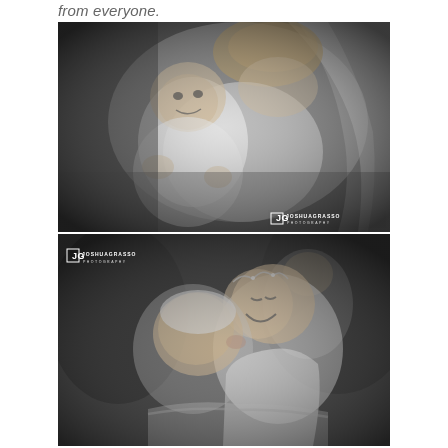from everyone.
[Figure (photo): Black and white wedding photo: a bride in a veil holding and nuzzling a laughing baby dressed in white. Watermark: JG JOSHUAGRASSO PHOTOGRAPHY in bottom right.]
[Figure (photo): Black and white wedding photo: a man (groom or guest) kissing the cheek of a smiling young girl wearing a floral crown/tiara. Watermark: JG JOSHUAGRASSO PHOTOGRAPHY in top left.]